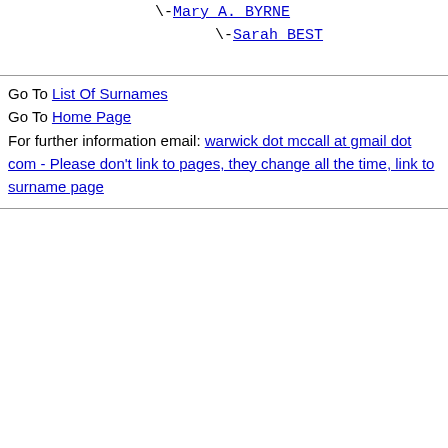\-Mary A. BYRNE
\-Sarah BEST
Go To List Of Surnames
Go To Home Page
For further information email: warwick dot mccall at gmail dot com - Please don't link to pages, they change all the time, link to surname page